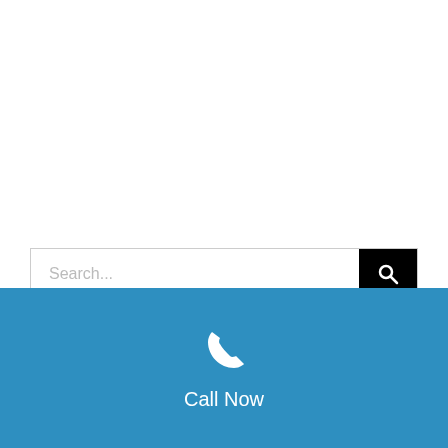[Figure (screenshot): Search bar with text input field showing placeholder 'Search...' and a black search button with magnifying glass icon on the right]
Search...
Call Now